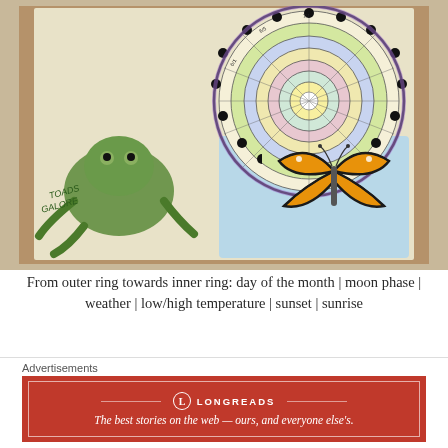[Figure (photo): A hand-drawn Phenology Wheel on paper showing concentric rings with data for each day. The outer rings show dates, moon phases, weather symbols, temperatures, sunset and sunrise times. A green toad is drawn in the lower left with text 'TOADS GALORE'. An orange monarch butterfly is drawn in the lower right. The wheel is colorful with yellows, greens, purples, blues.]
From outer ring towards inner ring: day of the month | moon phase | weather | low/high temperature | sunset | sunrise
For the first time in several months, I created a Phenology Wheel in July! In January I
Advertisements
[Figure (logo): Longreads advertisement banner: red background with white border, Longreads logo (circle with L), tagline 'The best stories on the web — ours, and everyone else's.' in italic white text.]